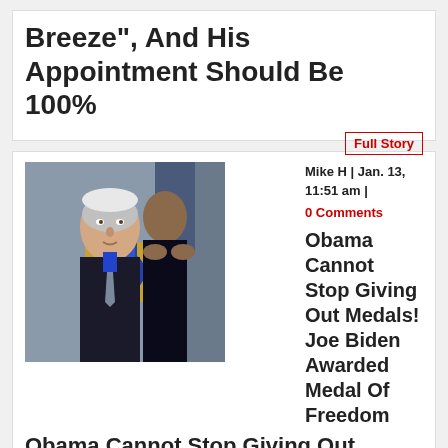Breeze", And His Appointment Should Be 100%
Full Story
Mike H | Jan. 13, 11:51 am |
0 Comments
[Figure (photo): Photo of Joe Biden receiving Medal of Freedom from Barack Obama]
Obama Cannot Stop Giving Out Medals! Joe Biden Awarded Medal Of Freedom
Full Story
Mike H | Jan. 13,
[Figure (photo): Red banner image with text beginning CHINA'S]